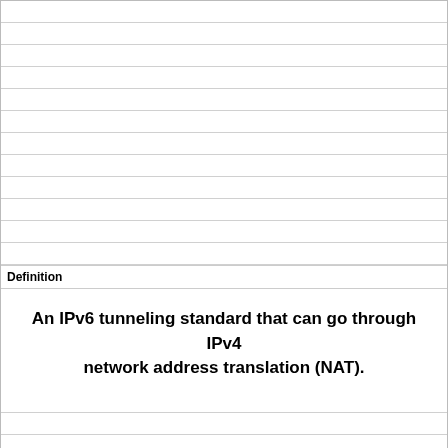Definition
An IPv6 tunneling standard that can go through IPv4 network address translation (NAT).
Term
6to4